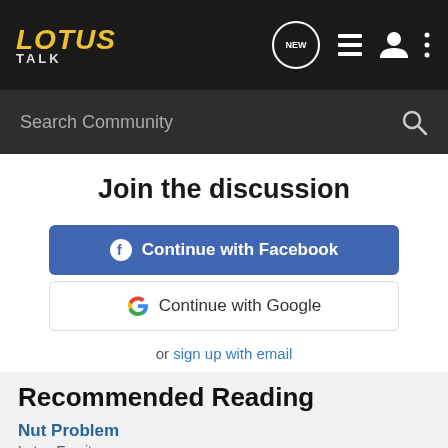[Figure (screenshot): Lotus Talk website navigation bar with logo, NEW badge, list icon, person icon, and dots menu icon]
[Figure (screenshot): Search Community input bar with search icon on dark background]
Join the discussion
Continue with Facebook
Continue with Google
or sign up with email
Recommended Reading
Nut Problem
Lotus Esprit